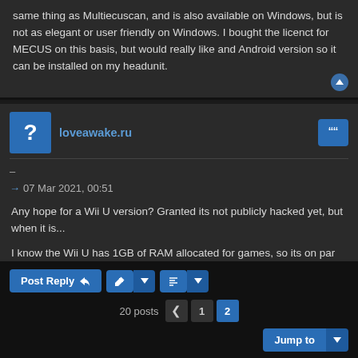same thing as Multiecuscan, and is also available on Windows, but is not as elegant or user friendly on Windows. I bought the licenct for MECUS on this basis, but would really like and Android version so it can be installed on my headunit.
loveawake.ru
–
→ 07 Mar 2021, 00:51
Any hope for a Wii U version? Granted its not publicly hacked yet, but when it is...
I know the Wii U has 1GB of RAM allocated for games, so its on par with some Android devices. Granted I dont know how well PPSSPP runs on an Android device with 1GB RAM.
Post Reply  |  |  20 posts  1  2  Jump to